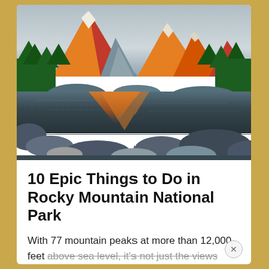[Figure (photo): Mountain landscape at sunrise/sunset showing rocky peaks with orange alpenglow, snow patches, dense evergreen forest, and a still mountain lake or river in the foreground reflecting the orange peaks, with large rocks in the foreground.]
10 Epic Things to Do in Rocky Mountain National Park
With 77 mountain peaks at more than 12,000 feet above sea level, it's not just the views that'll leave you breathless in Colorado's most-visited national park.